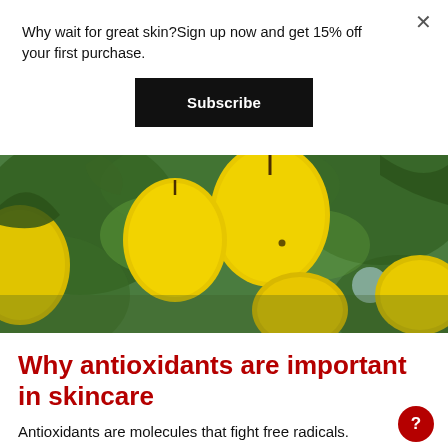Why wait for great skin?Sign up now and get 15% off your first purchase.
Subscribe
[Figure (photo): Close-up photo of yellow mangoes hanging on a tree with green foliage in the background]
Why antioxidants are important in skincare
Antioxidants are molecules that fight free radicals. Antioxidants...